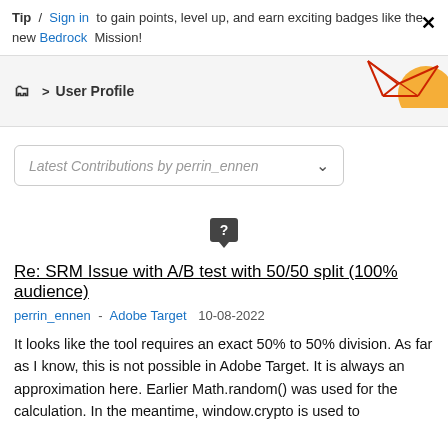Tip / Sign in to gain points, level up, and earn exciting badges like the new Bedrock Mission!
User Profile
[Figure (illustration): Decorative graphic with red geometric lines and orange circle in the top-right corner of the header bar]
Latest Contributions by perrin_ennen
[Figure (other): Dark square speech bubble icon with a question mark]
Re: SRM Issue with A/B test with 50/50 split (100% audience)
perrin_ennen - Adobe Target 10-08-2022
It looks like the tool requires an exact 50% to 50% division. As far as I know, this is not possible in Adobe Target. It is always an approximation here. Earlier Math.random() was used for the calculation. In the meantime, window.crypto is used to